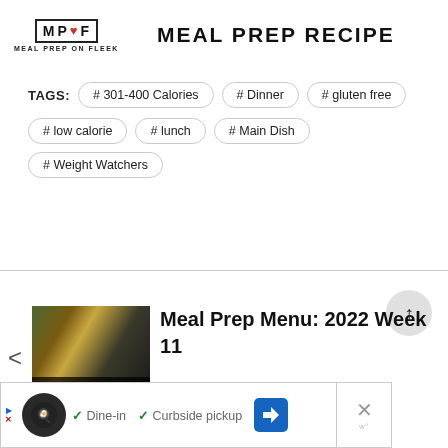[Figure (logo): Meal Prep on Fleek logo with pixelated heart icon in bracket box and site name MEAL PREP RECIPE in large bold uppercase text]
TAGS: # 301-400 Calories # Dinner # gluten free # low calorie # lunch # Main Dish # Weight Watchers
[Figure (photo): Thumbnail image of meal prep containers with colorful food, labeled PREP MENU: WI]
Meal Prep Menu: 2022 Week 11
[Figure (other): Advertisement banner with restaurant logo, checkmarks for Dine-in and Curbside pickup, navigation icon, and close button]